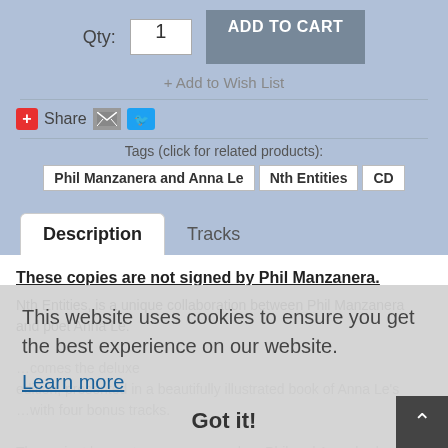Qty: 1  ADD TO CART
+ Add to Wish List
Share
Tags (click for related products):
Phil Manzanera and Anna Le  |  Nth Entities  |  CD
Description  Tracks
These copies are not signed by Phil Manzanera.
Nth Entities, is a unique collaboration between Phil Manzanera and poet Anna Le...
This website uses cookies to ensure you get the best experience on our website.
Learn more
Got it!